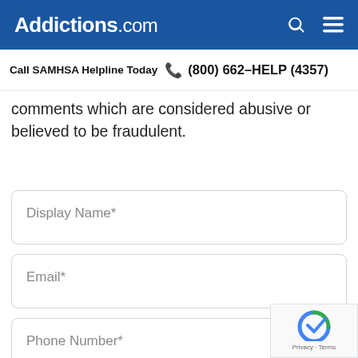Addictions.com
Call SAMHSA Helpline Today  (800) 662-HELP (4357)
comments which are considered abusive or believed to be fraudulent.
Display Name*
Email*
Phone Number*
Please provide any additional information,